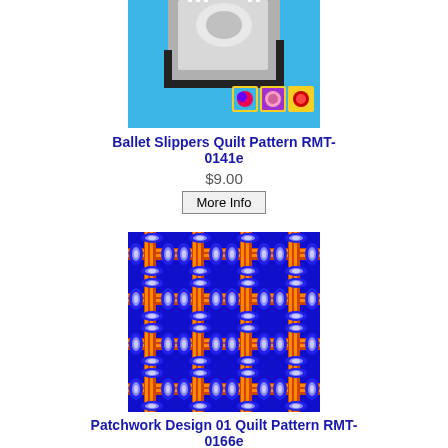[Figure (illustration): Ballet slippers quilt pattern preview image showing pixelated ballet slippers on blue background with three small color variant thumbnails]
Ballet Slippers Quilt Pattern RMT-0141e
$9.00
More Info
[Figure (illustration): Patchwork Design 01 quilt pattern preview showing a repeating geometric pattern with blue ovals and orange/yellow cross grid on blue background]
Patchwork Design 01 Quilt Pattern RMT-0166e
$9.00